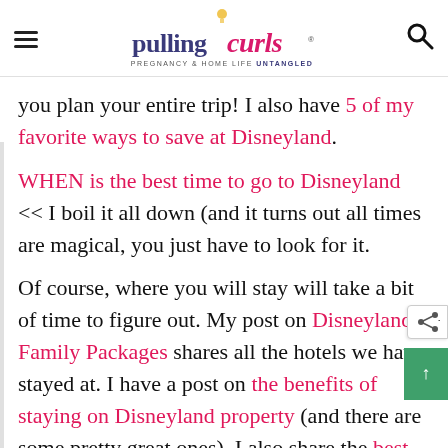pulling curls — PREGNANCY & HOME LIFE UNTANGLED
you plan your entire trip!  I also have 5 of my favorite ways to save at Disneyland.
WHEN is the best time to go to Disneyland << I boil it all down (and it turns out all times are magical, you just have to look for it.
Of course, where you will stay will take a bit of time to figure out.  My post on Disneyland Family Packages shares all the hotels we have stayed at.  I have a post on the benefits of staying on Disneyland property (and there are some pretty great ones).  I also share the best hotels close